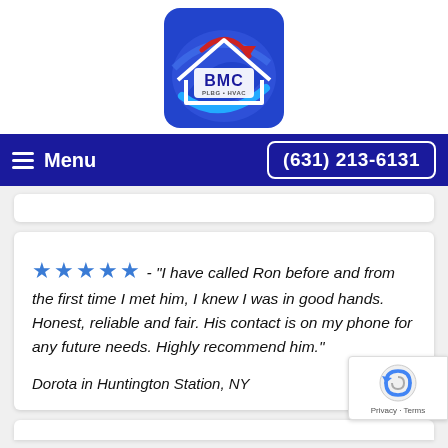[Figure (logo): BMC Plumbing & HVAC logo — blue square with rounded corners showing a white house outline with BMC text and PLBG•HVAC subtitle, with blue and red swoosh/arrow graphic inside]
Menu   (631) 213-6131
★★★★★ - "I have called Ron before and from the first time I met him, I knew I was in good hands. Honest, reliable and fair. His contact is on my phone for any future needs. Highly recommend him."
Dorota in Huntington Station, NY